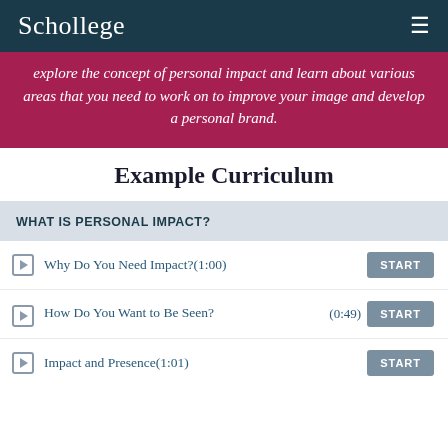Schollege
explore the concept of personal impact and learn about various areas that you need to work on to improve your image and develop a personal brand.
Example Curriculum
WHAT IS PERSONAL IMPACT?
Why Do You Need Impact?(1:00) START
How Do You Want to Be Seen? (0:49) START
Impact and Presence(1:01) START